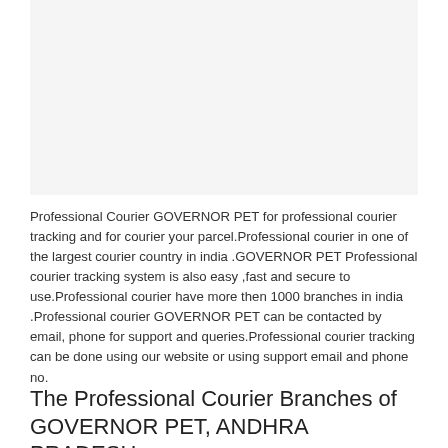[Figure (other): Blank/white image placeholder area at top of page]
Professional Courier GOVERNOR PET for professional courier tracking and for courier your parcel.Professional courier in one of the largest courier country in india .GOVERNOR PET Professional courier tracking system is also easy ,fast and secure to use.Professional courier have more then 1000 branches in india .Professional courier GOVERNOR PET can be contacted by email, phone for support and queries.Professional courier tracking can be done using our website or using support email and phone no.
The Professional Courier Branches of GOVERNOR PET, ANDHRA PRADESH